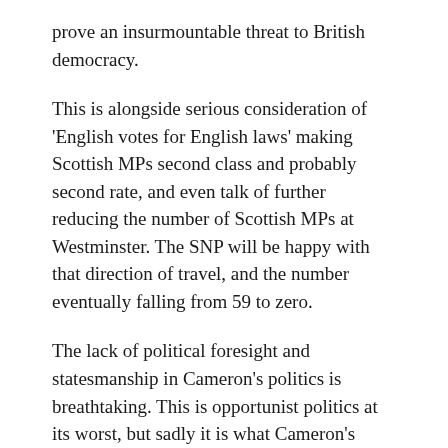prove an insurmountable threat to British democracy.
This is alongside serious consideration of 'English votes for English laws' making Scottish MPs second class and probably second rate, and even talk of further reducing the number of Scottish MPs at Westminster. The SNP will be happy with that direction of travel, and the number eventually falling from 59 to zero.
The lack of political foresight and statesmanship in Cameron's politics is breathtaking. This is opportunist politics at its worst, but sadly it is what Cameron's leadership of the Tories and Premiership have become defined by: bending to the political wind, one day 'compassionate Conservative' and the 'heir to Blair', the next inexorably continuing the march of Thatcherism.